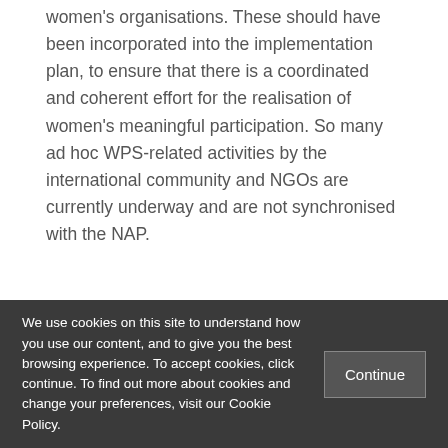women's organisations. These should have been incorporated into the implementation plan, to ensure that there is a coordinated and coherent effort for the realisation of women's meaningful participation. So many ad hoc WPS-related activities by the international community and NGOs are currently underway and are not synchronised with the NAP.
We use cookies on this site to understand how you use our content, and to give you the best browsing experience. To accept cookies, click continue. To find out more about cookies and change your preferences, visit our Cookie Policy.